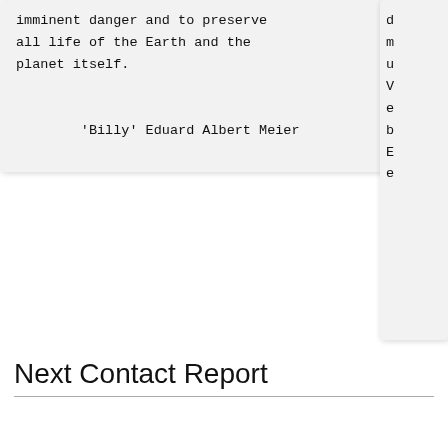imminent danger and to preserve all life of the Earth and the planet itself.

        'Billy' Eduard Albert Meier
d
m
u
V
e
b
E
e
Next Contact Report
Contact Report 008